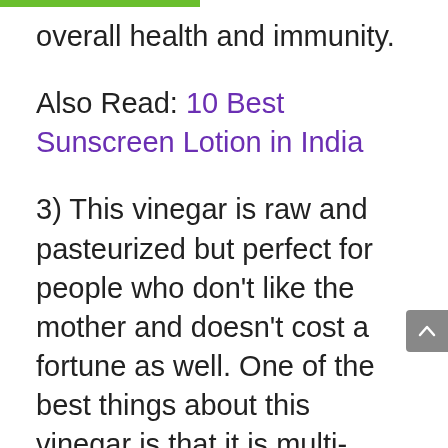overall health and immunity.
Also Read: 10 Best Sunscreen Lotion in India
3) This vinegar is raw and pasteurized but perfect for people who don't like the mother and doesn't cost a fortune as well. One of the best things about this vinegar is that it is multi-purpose.
4) You can use it to clean your fruits and vegetables or stains from your house or you can use it as a salad dressing. That's